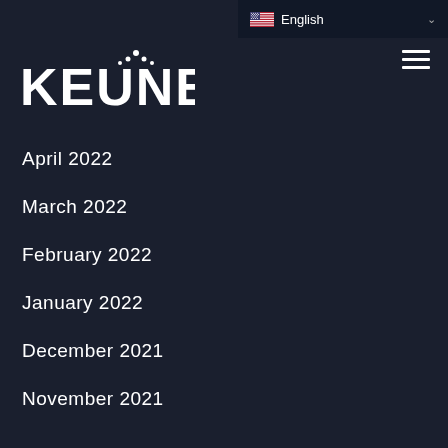English
[Figure (logo): KEUNE logo with decorative crown/dot accent above the letter E]
April 2022
March 2022
February 2022
January 2022
December 2021
November 2021
October 2021
September 2021
August 2021